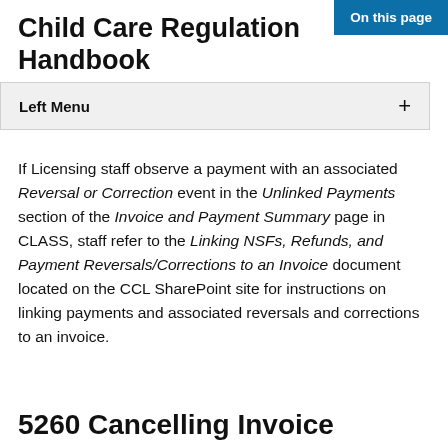On this page
Child Care Regulation Handbook
Left Menu +
If Licensing staff observe a payment with an associated Reversal or Correction event in the Unlinked Payments section of the Invoice and Payment Summary page in CLASS, staff refer to the Linking NSFs, Refunds, and Payment Reversals/Corrections to an Invoice document located on the CCL SharePoint site for instructions on linking payments and associated reversals and corrections to an invoice.
5260 Cancelling Invoices